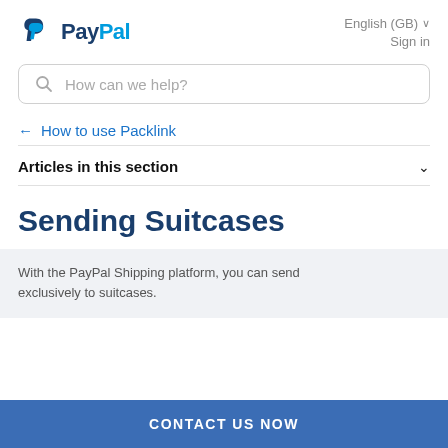[Figure (logo): PayPal logo with blue P icon and PayPal wordmark in dark and light blue]
English (GB) ∨
Sign in
How can we help?
← How to use Packlink
Articles in this section
Sending Suitcases
With the PayPal Shipping platform, you can send exclusively to suitcases.
CONTACT US NOW